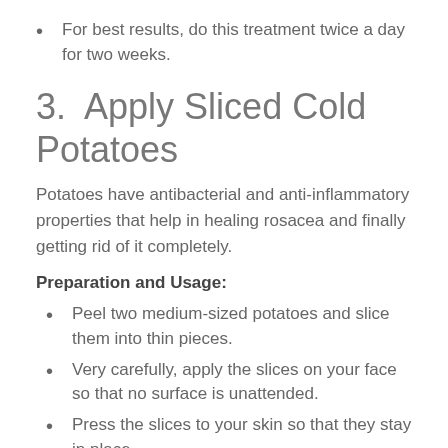For best results, do this treatment twice a day for two weeks.
3.  Apply Sliced Cold Potatoes
Potatoes have antibacterial and anti-inflammatory properties that help in healing rosacea and finally getting rid of it completely.
Preparation and Usage:
Peel two medium-sized potatoes and slice them into thin pieces.
Very carefully, apply the slices on your face so that no surface is unattended.
Press the slices to your skin so that they stay in place.
Keep the potato slices on your face for 10 minutes.